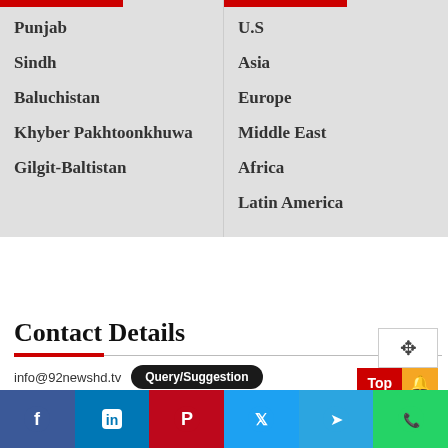Punjab
U.S
Sindh
Asia
Baluchistan
Europe
Khyber Pakhtoonkhuwa
Middle East
Gilgit-Baltistan
Africa
Latin America
Contact Details
info@92newshd.tv   Query/Suggestion
03341920278   (042)35779311
[Figure (infographic): Social media share bar at bottom with Facebook, LinkedIn, Pinterest, Twitter, Telegram, WhatsApp icons]